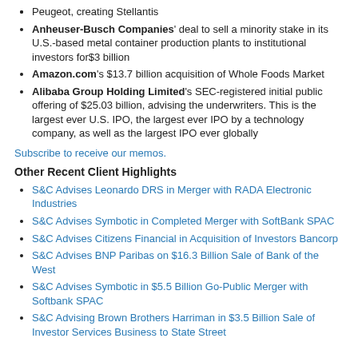Peugeot, creating Stellantis
Anheuser-Busch Companies' deal to sell a minority stake in its U.S.-based metal container production plants to institutional investors for $3 billion
Amazon.com's $13.7 billion acquisition of Whole Foods Market
Alibaba Group Holding Limited's SEC-registered initial public offering of $25.03 billion, advising the underwriters. This is the largest ever U.S. IPO, the largest ever IPO by a technology company, as well as the largest IPO ever globally
Subscribe to receive our memos.
Other Recent Client Highlights
S&C Advises Leonardo DRS in Merger with RADA Electronic Industries
S&C Advises Symbotic in Completed Merger with SoftBank SPAC
S&C Advises Citizens Financial in Acquisition of Investors Bancorp
S&C Advises BNP Paribas on $16.3 Billion Sale of Bank of the West
S&C Advises Symbotic in $5.5 Billion Go-Public Merger with Softbank SPAC
S&C Advising Brown Brothers Harriman in $3.5 Billion Sale of Investor Services Business to State Street